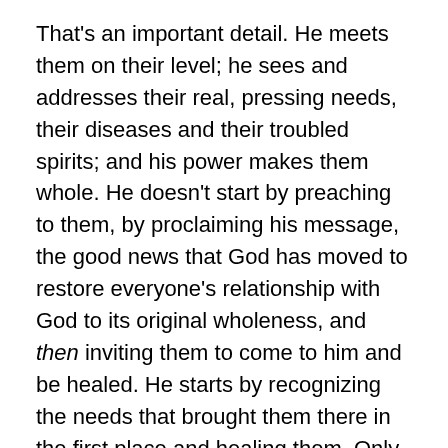That's an important detail. He meets them on their level; he sees and addresses their real, pressing needs, their diseases and their troubled spirits; and his power makes them whole. He doesn't start by preaching to them, by proclaiming his message, the good news that God has moved to restore everyone's relationship with God to its original wholeness, and then inviting them to come to him and be healed. He starts by recognizing the needs that brought them there in the first place and healing them. Only then does he share the good news about what they've experienced.
My best lesson about the power of healing the real needs of people where they are as the context for sharing the gospel came in 1986 when I started the Quality of Life Retreat for persons living with AIDS. The week-long summer retreat was the first of its kind in The United